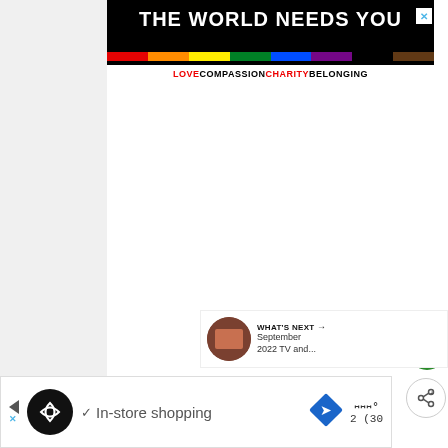[Figure (infographic): Advertisement banner with rainbow colors and text 'THE WORLD NEEDS YOU' on black background, subtitle 'LOVE COMPASSION CHARITY BELONGING']
[Figure (screenshot): White space area below the ad banner (collapsed/empty ad content)]
[Figure (infographic): Heart/favorite button (green circle with heart icon) and share button (white circle with share icon) on right side]
NBC:
8/7c-Will & Grace: Season 9 (30 Minutes)
[Figure (screenshot): What's Next overlay with thumbnail showing September 2022 TV and...]
[Figure (screenshot): Bottom advertisement banner with shopping icon and 'In-store shopping' text]